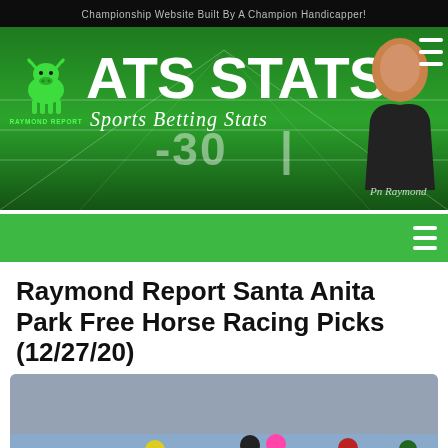[Figure (screenshot): ATS Stats Raymond Report website header banner with green football field background, bull logo, large white ATS STATS text, Sports Betting Stats italic subtitle, person silhouette on right, hamburger menu icon]
[Figure (screenshot): Green navigation bar with white hamburger menu icon on right]
Raymond Report Santa Anita Park Free Horse Racing Picks (12/27/20)
[Figure (photo): Horse racing action photo showing multiple jockeys racing closely together with colorful helmets and silks]
Contact Us